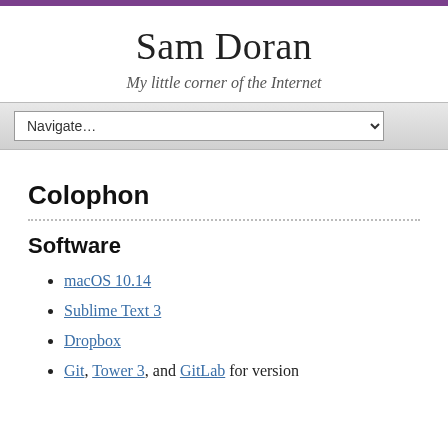Sam Doran
My little corner of the Internet
Colophon
Software
macOS 10.14
Sublime Text 3
Dropbox
Git, Tower 3, and GitLab for version controlling the site...